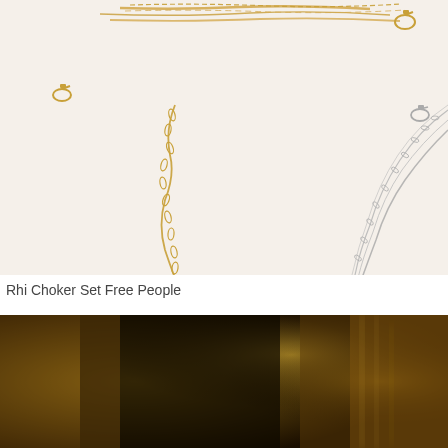[Figure (photo): Close-up product photo of delicate gold and silver chain necklaces/chokers on a light cream background. A single wavy gold paperclip chain is on the left side, and on the right are multiple layered silver chains of varying link styles. Lobster clasps are visible at the top.]
Rhi Choker Set Free People
[Figure (photo): Blurred/out-of-focus photo with warm dark brown and golden tones, appears to show a dark interior environment with golden decorative elements.]